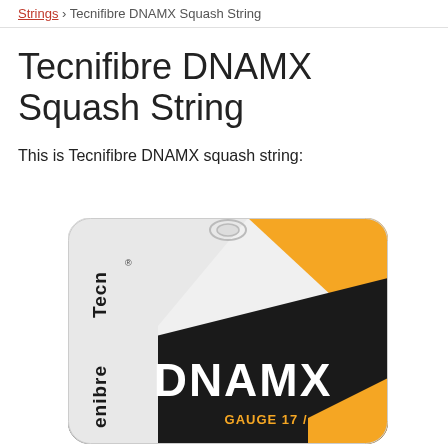Strings › Tecnifibre DNAMX Squash String
Tecnifibre DNAMX Squash String
This is Tecnifibre DNAMX squash string:
[Figure (photo): Product packaging for Tecnifibre DNAMX Squash String, Gauge 17 / 1.20. The package is rounded-rectangle shaped with white background, an orange diagonal stripe in the top-right corner, a large black diagonal band in the lower portion with white bold text 'DNAMX', orange text 'GAUGE 17 / 1.20' below, and 'Tecnifibre' branding in black vertical text on the left side. A hang hole is at the top center.]